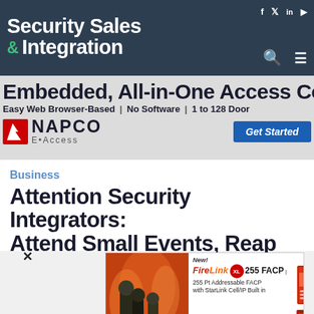Security Sales & Integration
[Figure (infographic): NAPCO E-Access advertisement: Embedded, All-in-One Access Control. Easy Web Browser-Based | No Software | 1 to 128 Doors. Get Started button.]
Business
Attention Security Integrators: Attend Small Events, Reap Big
[Figure (infographic): FireLink XL 255 FACP advertisement. New! FireLink XL 255 FACP. 255 Pt Addressable FACP with StarLink Cell/IP Built in. Now 2 FireLink FACPs: Conventional up to 32Pts & New XL 255 Addressable Pts.]